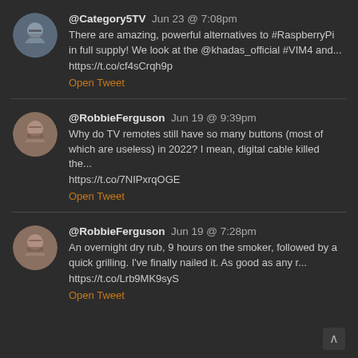[Figure (illustration): Circular avatar photo of a man with glasses and beard, Category5TV profile]
@Category5TV  Jun 23 @ 7:08pm
There are amazing, powerful alternatives to #RaspberryPi in full supply! We look at the @khadas_official #VIM4 and...
https://t.co/cf4sCrqh9p
Open Tweet
[Figure (illustration): Circular avatar photo of a bald man with beard, RobbieFerguson profile]
@RobbieFerguson  Jun 19 @ 9:39pm
Why do TV remotes still have so many buttons (most of which are useless) in 2022? I mean, digital cable killed the...
https://t.co/7NIPxrqOGE
Open Tweet
[Figure (illustration): Circular avatar photo of a bald man with beard, RobbieFerguson profile]
@RobbieFerguson  Jun 19 @ 7:28pm
An overnight dry rub, 9 hours on the smoker, followed by a quick grilling. I've finally nailed it. As good as any r...
https://t.co/Lrb9MK9syS
Open Tweet